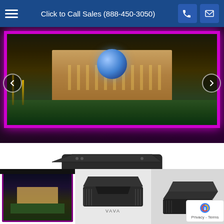Click to Call Sales (888-450-3050)
[Figure (photo): Hero image carousel showing an illuminated grand building/casino at night with large reflective sphere sculpture in foreground, displayed on a large flat screen TV with purple ambient lighting]
[Figure (photo): VAVA ultra short throw laser projector - black box shaped device photographed from above on white background]
[Figure (photo): Thumbnail of casino building displayed on TV with purple frame]
[Figure (photo): Thumbnail of VAVA projector side/angle view]
[Figure (photo): Thumbnail of VAVA projector angled view partially obscured by privacy/reCAPTCHA badge]